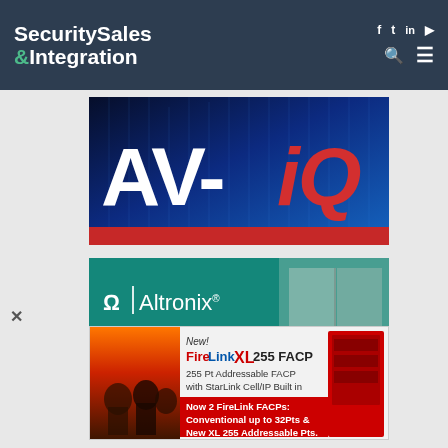[Figure (logo): Security Sales & Integration website header with logo on dark navy background and social/nav icons]
[Figure (illustration): AV-iQ banner advertisement with white AV- text and red italic iQ on blue digital background with red bottom bar]
[Figure (illustration): Altronix advertisement on teal background showing logo and text PICTURE PERFECT SECURITY WITH]
[Figure (illustration): FireLink XL 255 FACP popup advertisement showing firefighters and product details]